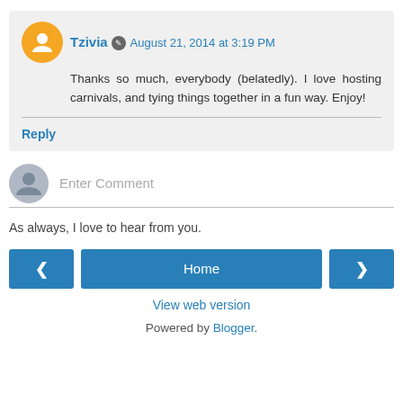Tzivia  August 21, 2014 at 3:19 PM
Thanks so much, everybody (belatedly). I love hosting carnivals, and tying things together in a fun way. Enjoy!
Reply
Enter Comment
As always, I love to hear from you.
Home
View web version
Powered by Blogger.